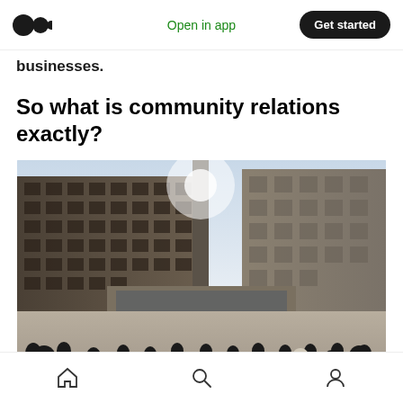Open in app | Get started
businesses.
So what is community relations exactly?
[Figure (photo): Urban plaza scene with crowds of people walking between large modernist office buildings. A tall chimney or tower is visible in the background against a bright sky. People in the foreground are wearing casual clothing, many in black.]
Home | Search | Profile